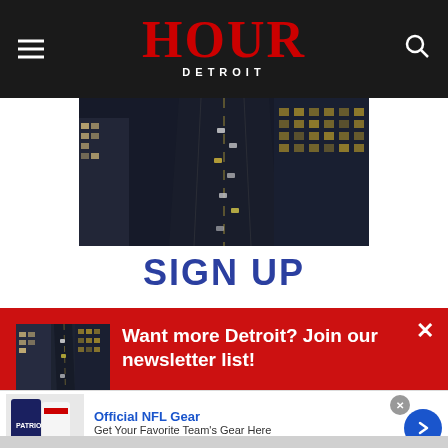HOUR DETROIT
[Figure (photo): Aerial view of Detroit city streets at dusk/night, showing downtown buildings and traffic]
SIGN UP
[Figure (infographic): Red newsletter signup banner with Detroit street photo thumbnail, text: Want more Detroit? Join our newsletter list!]
[Figure (photo): Advertisement: Official NFL Gear - Get Your Favorite Team's Gear Here - www.nflshop.com, showing Patriots jersey]